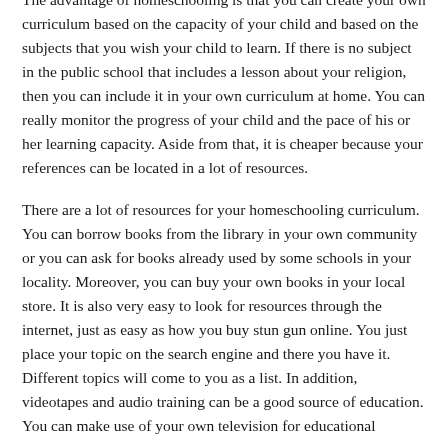The advantage of homeschooling is that you can create your own curriculum based on the capacity of your child and based on the subjects that you wish your child to learn. If there is no subject in the public school that includes a lesson about your religion, then you can include it in your own curriculum at home. You can really monitor the progress of your child and the pace of his or her learning capacity. Aside from that, it is cheaper because your references can be located in a lot of resources.
There are a lot of resources for your homeschooling curriculum. You can borrow books from the library in your own community or you can ask for books already used by some schools in your locality. Moreover, you can buy your own books in your local store. It is also very easy to look for resources through the internet, just as easy as how you buy stun gun online. You just place your topic on the search engine and there you have it. Different topics will come to you as a list. In addition, videotapes and audio training can be a good source of education. You can make use of your own television for educational purposes.
Homeschooling is also an alternative method to deliver quality